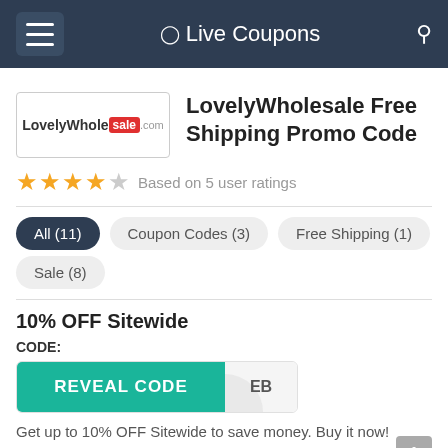Live Coupons
[Figure (logo): LovelyWholesale.com store logo]
LovelyWholesale Free Shipping Promo Code
Based on 5 user ratings
All (11)
Coupon Codes (3)
Free Shipping (1)
Sale (8)
10% OFF Sitewide
CODE:
[Figure (screenshot): Reveal Code button with partially revealed code ending in ...EB]
Get up to 10% OFF Sitewide to save money. Buy it now!
Up to 60% OFF Your Order